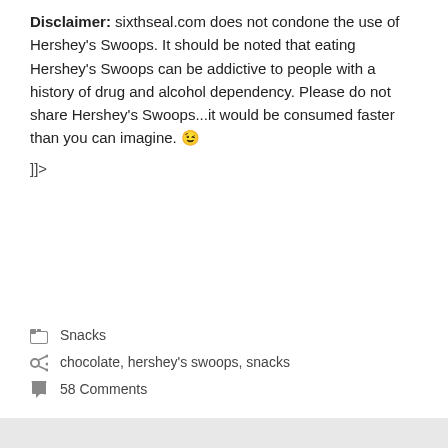Disclaimer: sixthseal.com does not condone the use of Hershey's Swoops. It should be noted that eating Hershey's Swoops can be addictive to people with a history of drug and alcohol dependency. Please do not share Hershey's Swoops...it would be consumed faster than you can imagine. 😉
]]>
Snacks
chocolate, hershey's swoops, snacks
58 Comments